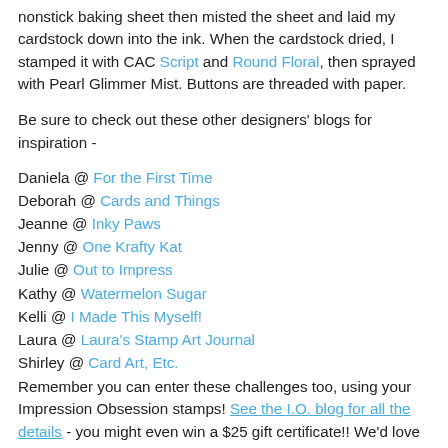nonstick baking sheet then misted the sheet and laid my cardstock down into the ink. When the cardstock dried, I stamped it with CAC Script and Round Floral, then sprayed with Pearl Glimmer Mist. Buttons are threaded with paper.
Be sure to check out these other designers' blogs for inspiration -
Daniela @ For the First Time
Deborah @ Cards and Things
Jeanne @ Inky Paws
Jenny @ One Krafty Kat
Julie @ Out to Impress
Kathy @ Watermelon Sugar
Kelli @ I Made This Myself!
Laura @ Laura's Stamp Art Journal
Shirley @ Card Art, Etc.
Remember you can enter these challenges too, using your Impression Obsession stamps! See the I.O. blog for all the details - you might even win a $25 gift certificate!! We'd love to have you join us.